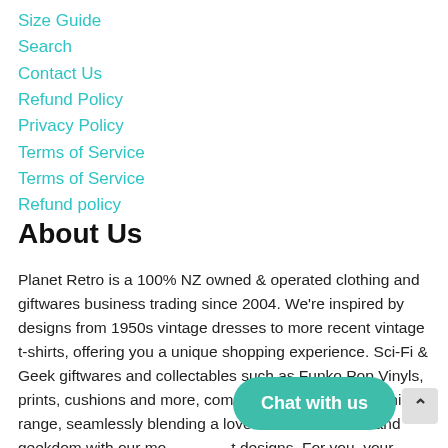Size Guide
Search
Contact Us
Refund Policy
Privacy Policy
Terms of Service
Terms of Service
Refund policy
About Us
Planet Retro is a 100% NZ owned & operated clothing and giftwares business trading since 2004. We're inspired by designs from 1950s vintage dresses to more recent vintage t-shirts, offering you a unique shopping experience. Sci-Fi & Geek giftwares and collectables such as Funko Pop Vinyls, prints, cushions and more, compliment our unique clothing range, seamlessly blending a love of science fiction and geekdom with our most retro at designs. For you, your home or your bestie online or at 241 Jackson Street, Petone.